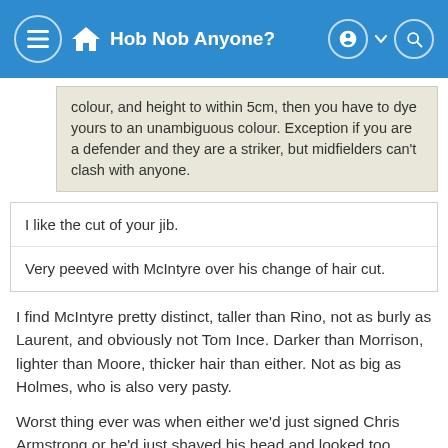Hob Nob Anyone?
colour, and height to within 5cm, then you have to dye yours to an unambiguous colour. Exception if you are a defender and they are a striker, but midfielders can't clash with anyone.
I like the cut of your jib.
Very peeved with McIntyre over his change of hair cut.
I find McIntyre pretty distinct, taller than Rino, not as burly as Laurent, and obviously not Tom Ince. Darker than Morrison, lighter than Moore, thicker hair than either. Not as big as Holmes, who is also very pasty.
Worst thing ever was when either we'd just signed Chris Armstrong or he'd just shaved his head and looked too much like Ivar. Barrow and Aluko was quite confusing, until you realised that Barrow was the one who was good at football.
I have a memory of persistently confusing Gunter with someone but can't think who it would have been. Norwood? Swift? Evans.